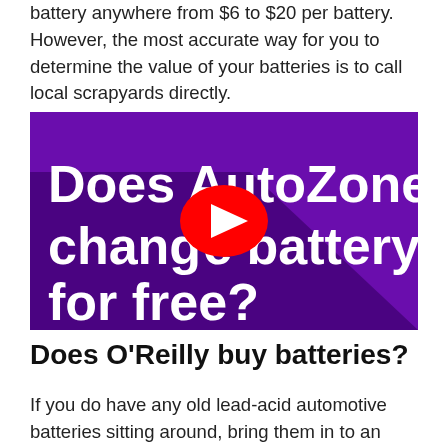battery anywhere from $6 to $20 per battery. However, the most accurate way for you to determine the value of your batteries is to call local scrapyards directly.
[Figure (screenshot): YouTube video thumbnail with purple background showing text 'Does AutoZone change battery for free?' with a red YouTube play button in the center]
Does O'Reilly buy batteries?
If you do have any old lead-acid automotive batteries sitting around, bring them in to an O'Reilly Auto Parts store for recycling and